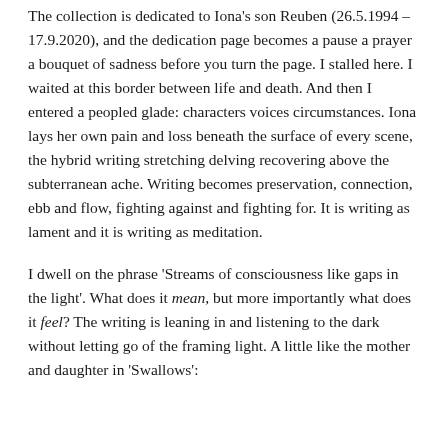The collection is dedicated to Iona's son Reuben (26.5.1994 – 17.9.2020), and the dedication page becomes a pause a prayer a bouquet of sadness before you turn the page. I stalled here. I waited at this border between life and death. And then I entered a peopled glade: characters voices circumstances. Iona lays her own pain and loss beneath the surface of every scene, the hybrid writing stretching delving recovering above the subterranean ache. Writing becomes preservation, connection, ebb and flow, fighting against and fighting for. It is writing as lament and it is writing as meditation.
I dwell on the phrase 'Streams of consciousness like gaps in the light'. What does it mean, but more importantly what does it feel? The writing is leaning in and listening to the dark without letting go of the framing light. A little like the mother and daughter in 'Swallows':